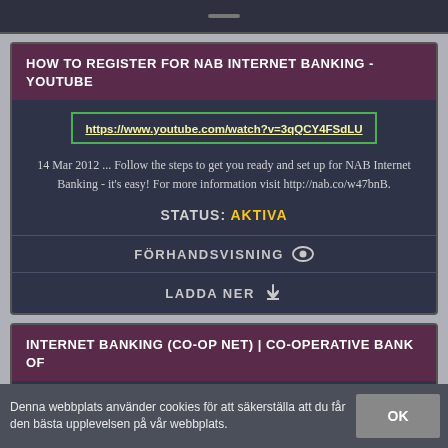HOW TO REGISTER FOR NAB INTERNET BANKING - YOUTUBE
https://www.youtube.com/watch?v=3qQCY4FSdLU
14 Mar 2012 ... Follow the steps to get you ready and set up for NAB Internet Banking - it's easy! For more information visit http://nab.co/w47bnB.
STATUS: AKTIVA
FÖRHANDSVISNING
LADDA NER
INTERNET BANKING (CO-OP NET) | CO-OPERATIVE BANK OF
Denna webbplats använder cookies för att säkerställa att du får den bästa upplevelsen på vår webbplats.